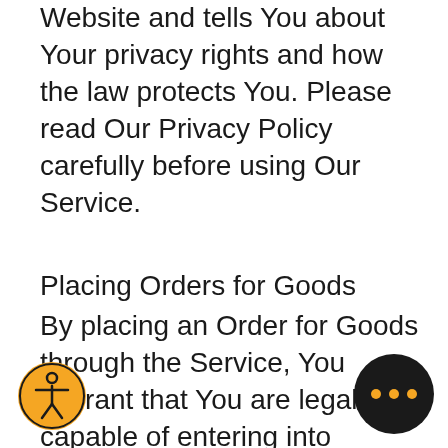Website and tells You about Your privacy rights and how the law protects You. Please read Our Privacy Policy carefully before using Our Service.
Placing Orders for Goods
By placing an Order for Goods through the Service, You warrant that You are legally capable of entering into binding contracts.
Your Information
If You wish to place an Order for Goods available on the Service, You may be asked to supply certain information relevant to Your Order including, without limitation, Your name, Your email, Your phone number, Your credit